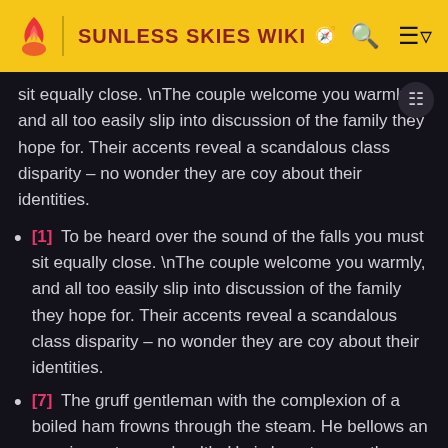SUNLESS SKIES WIKI
sit equally close. \nThe couple welcome you warmly, and all too easily slip into discussion of the family they hope for. Their accents reveal a scandalous class disparity – no wonder they are coy about their identities.
[1] To be heard over the sound of the falls you must sit equally close. \nThe couple welcome you warmly, and all too easily slip into discussion of the family they hope for. Their accents reveal a scandalous class disparity – no wonder they are coy about their identities.
[7] The gruff gentleman with the complexion of a boiled ham frowns through the steam. He bellows an enquiry as to your health. He is here to ease the susceptibilities inflicted by his joints. The words he